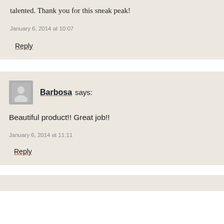talented. Thank you for this sneak peak!
January 6, 2014 at 10:07
Reply
Barbosa says:
Beautiful product!! Great job!!
January 6, 2014 at 11:11
Reply